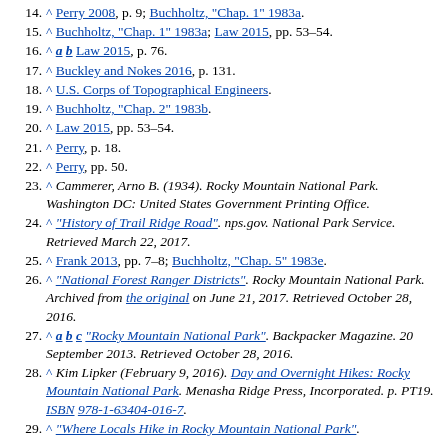14. ^ Perry 2008, p. 9; Buchholtz, "Chap. 1" 1983a.
15. ^ Buchholtz, "Chap. 1" 1983a; Law 2015, pp. 53–54.
16. ^ a b Law 2015, p. 76.
17. ^ Buckley and Nokes 2016, p. 131.
18. ^ U.S. Corps of Topographical Engineers.
19. ^ Buchholtz, "Chap. 2" 1983b.
20. ^ Law 2015, pp. 53–54.
21. ^ Perry, p. 18.
22. ^ Perry, pp. 50.
23. ^ Cammerer, Arno B. (1934). Rocky Mountain National Park. Washington DC: United States Government Printing Office.
24. ^ "History of Trail Ridge Road". nps.gov. National Park Service. Retrieved March 22, 2017.
25. ^ Frank 2013, pp. 7–8; Buchholtz, "Chap. 5" 1983e.
26. ^ "National Forest Ranger Districts". Rocky Mountain National Park. Archived from the original on June 21, 2017. Retrieved October 28, 2016.
27. ^ a b c "Rocky Mountain National Park". Backpacker Magazine. 20 September 2013. Retrieved October 28, 2016.
28. ^ Kim Lipker (February 9, 2016). Day and Overnight Hikes: Rocky Mountain National Park. Menasha Ridge Press, Incorporated. p. PT19. ISBN 978-1-63404-016-7.
29. ^ "Where Locals Hike in Rocky Mountain National Park".